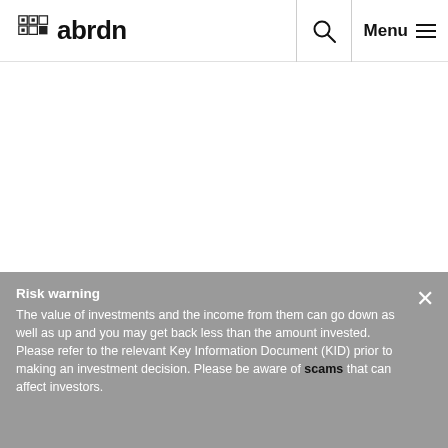abrdn | Menu
Risk warning
The value of investments and the income from them can go down as well as up and you may get back less than the amount invested. Please refer to the relevant Key Information Document (KID) prior to making an investment decision. Please be aware of scams that can affect investors.